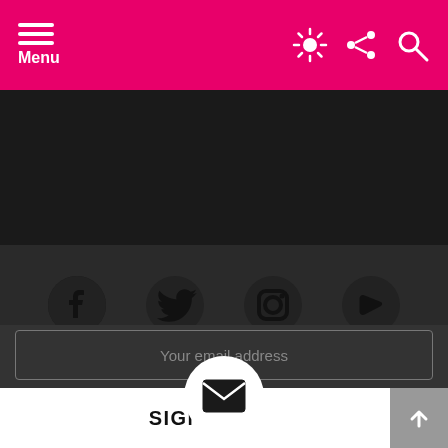Menu
[Figure (screenshot): Dark hero/banner area at top of page]
[Figure (infographic): Social media icons row: Facebook, Twitter, Instagram, YouTube on dark background]
[Figure (infographic): Email/envelope icon in white circle]
Don't miss out on new posts
Your email address
SIGN UP